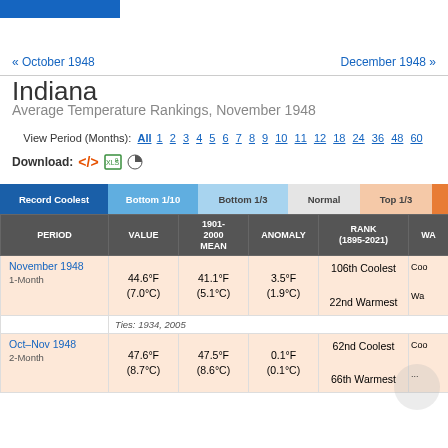« October 1948    December 1948 »
Indiana
Average Temperature Rankings, November 1948
View Period (Months): All 1 2 3 4 5 6 7 8 9 10 11 12 18 24 36 48 60
Download: <> [xls] ●
| PERIOD | VALUE | 1901-2000 MEAN | ANOMALY | RANK (1895-2021) | WA... |
| --- | --- | --- | --- | --- | --- |
| November 1948
1-Month | 44.6°F
(7.0°C) | 41.1°F
(5.1°C) | 3.5°F
(1.9°C) | 106th Coolest

22nd Warmest | Coo...

Wa... |
|  | Ties: 1934, 2005 |  |  |  |  |
| Oct–Nov 1948
2-Month | 47.6°F
(8.7°C) | 47.5°F
(8.6°C) | 0.1°F
(0.1°C) | 62nd Coolest

66th Warmest | Coo...

... |